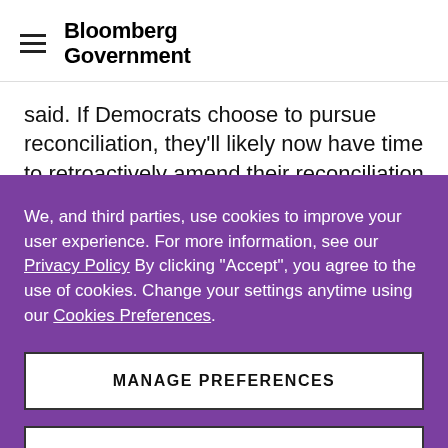Bloomberg Government
said. If Democrats choose to pursue reconciliation, they'll likely now have time to retroactively amend their reconciliation instructions, kicking off another round of committee work and floor votes.
We, and third parties, use cookies to improve your user experience. For more information, see our Privacy Policy By clicking "Accept", you agree to the use of cookies. Change your settings anytime using our Cookies Preferences.
MANAGE PREFERENCES
ACCEPT